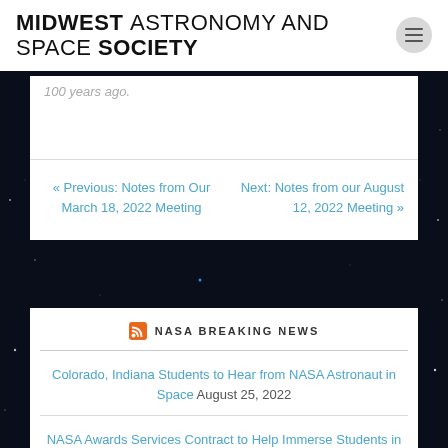MIDWEST ASTRONOMY AND SPACE SOCIETY
100 years ago.
« Previous: Notes from Our March 18, 2022 Meeting
Next: Notes from our August 12, 2022 Meeting »
NASA BREAKING NEWS
Colorado, Indiana Students to Hear from NASA Astronaut in Space August 25, 2022
NASA Awards Services Contract to Help Immerse Students in STEM August 25, 2022